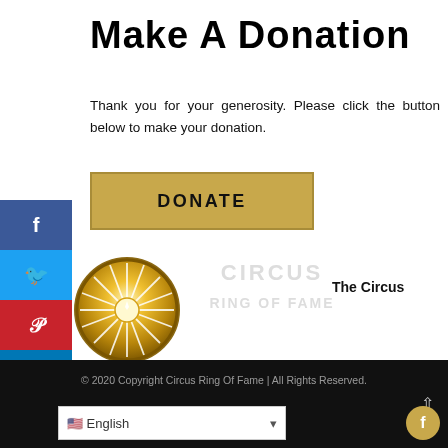Make A Donation
Thank you for your generosity. Please click the button below to make your donation.
[Figure (other): Gold DONATE button with dark border]
[Figure (logo): Circus Ring of Fame logo: gold spoke wheel emblem with watermark text CIRCUS RING OF FAME]
The Circus
ng of Fame Foundation, Inc.
o. Box 4282  |  Sarasota, FL  34220
ail: circusringoffame@gmail.com
© 2020 Copyright Circus Ring Of Fame | All Rights Reserved.